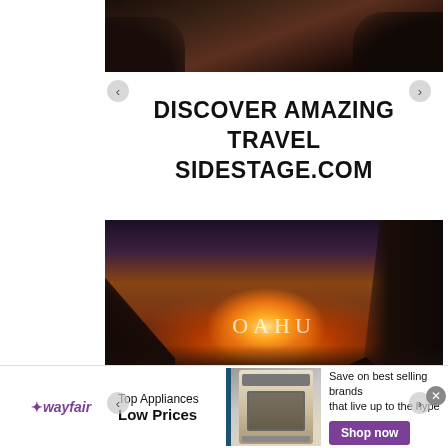[Figure (photo): Partial dark rocky coastal scene — top portion of slideshow carousel showing dark rocks and sea]
DISCOVER AMAZING TRAVEL
SIDESTAGE.COM
[Figure (photo): Sunset photo of Oahu, Hawaii — dramatic orange and golden sunset with silhouetted rocky cliffs and ocean, text 'OAHU' overlaid]
[Figure (photo): Wayfair advertisement banner — Top Appliances Low Prices, image of a gas range/stove, Save on best selling brands that live up to the hype, Shop now button]